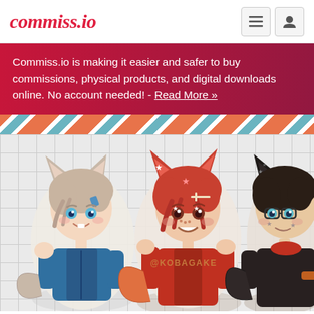commiss.io
Commiss.io is making it easier and safer to buy commissions, physical products, and digital downloads online. No account needed! - Read More »
[Figure (illustration): Diagonal stripe decorative bar with orange, white, and teal stripes]
[Figure (illustration): Anime/chibi style artwork showing three fox-eared characters as stickers on a grid background. Left character has gray hair and blue jacket, middle character has red hair and red coat, right character is partially visible with dark hair. Watermark @KOBAGAKE visible.]